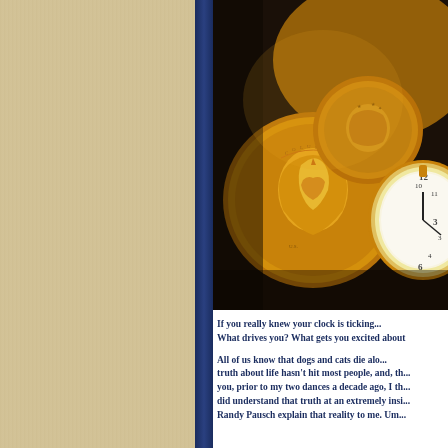[Figure (photo): Close-up photograph of gold coins and a pocket watch with golden tones]
If you really knew your clock is ticking... What drives you? What gets you excited about
All of us know that dogs and cats die alo... truth about life hasn't hit most people, and, th... you, prior to my two dances a decade ago, I th... did understand that truth at an extremely insi... Randy Pausch explain that reality to me. Um...